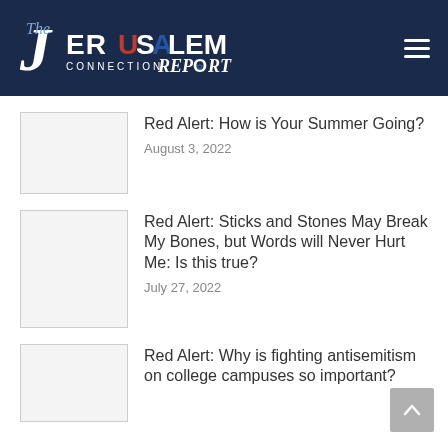The Jerusalem Connection Report
Red Alert: How is Your Summer Going?
August 3, 2022
Red Alert: Sticks and Stones May Break My Bones, but Words will Never Hurt Me: Is this true?
July 27, 2022
Red Alert: Why is fighting antisemitism on college campuses so important?